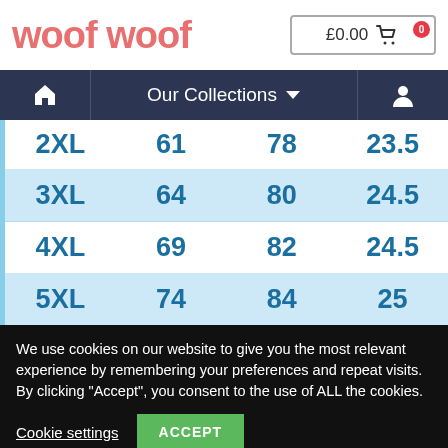[Figure (logo): woof woof logo in pink/salmon color]
£0.00 🛒 0
[Figure (screenshot): Navigation bar with home icon, Our Collections dropdown, and user icon]
| 2XL | 61 | 78 | 23.5 |
| 3XL | 64 | 80 | 24.5 |
| 4XL | 69 | 82 | 24.5 |
| 5XL | 74 | 84 | 25 |
We use cookies on our website to give you the most relevant experience by remembering your preferences and repeat visits.
By clicking "Accept", you consent to the use of ALL the cookies.
Cookie settings
ACCEPT